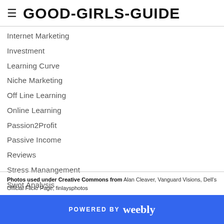≡ GOOD-GIRLS-GUIDE
Internet Marketing
Investment
Learning Curve
Niche Marketing
Off Line Learning
Online Learning
Passion2Profit
Passive Income
Reviews
Stress Manangement
Swot Analysis
The Secret
Photos used under Creative Commons from Alan Cleaver, Vanguard Visions, Dell's Official Flickr Page, finlaysphotos
POWERED BY weebly